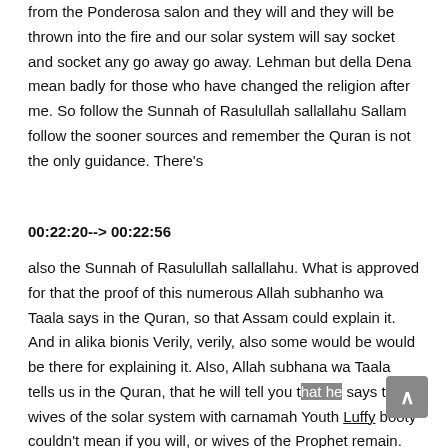from the Ponderosa salon and they will and they will be thrown into the fire and our solar system will say socket and socket any go away go away. Lehman but della Dena mean badly for those who have changed the religion after me. So follow the Sunnah of Rasulullah sallallahu Sallam follow the sooner sources and remember the Quran is not the only guidance. There's
00:22:20--> 00:22:56
also the Sunnah of Rasulullah sallallahu. What is approved for that the proof of this numerous Allah subhanho wa Taala says in the Quran, so that Assam could explain it. And in alika bionis Verily, verily, also some would be would be there for explaining it. Also, Allah subhana wa Taala tells us in the Quran, that he will tell you that he says to the wives of the solar system with carnamah Youth Luffy booty couldn't mean if you will, or wives of the Prophet remain.